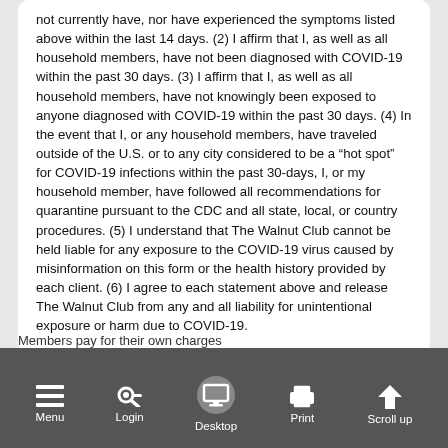not currently have, nor have experienced the symptoms listed above within the last 14 days. (2) I affirm that I, as well as all household members, have not been diagnosed with COVID-19 within the past 30 days. (3) I affirm that I, as well as all household members, have not knowingly been exposed to anyone diagnosed with COVID-19 within the past 30 days. (4) In the event that I, or any household members, have traveled outside of the U.S. or to any city considered to be a “hot spot” for COVID-19 infections within the past 30-days, I, or my household member, have followed all recommendations for quarantine pursuant to the CDC and all state, local, or country procedures. (5) I understand that The Walnut Club cannot be held liable for any exposure to the COVID-19 virus caused by misinformation on this form or the health history provided by each client. (6) I agree to each statement above and release The Walnut Club from any and all liability for unintentional exposure or harm due to COVID-19.
Available Slots:
1
Members pay for their own charges